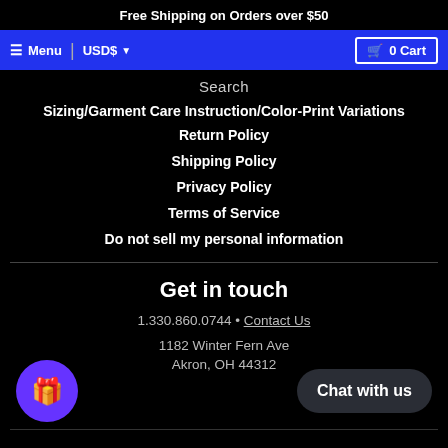Free Shipping on Orders over $50
≡ Menu | USD$ ▾ | 🛒 0 Cart
Search
Sizing/Garment Care Instruction/Color-Print Variations
Return Policy
Shipping Policy
Privacy Policy
Terms of Service
Do not sell my personal information
Get in touch
1.330.860.0744 • Contact Us
1182 Winter Fern Ave
Akron, OH 44312